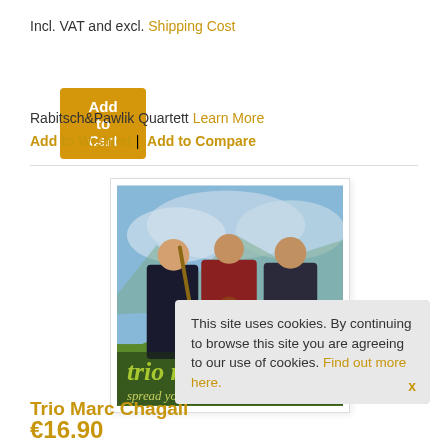Incl. VAT and excl. Shipping Cost
Add to Cart
Rabitsch&Pawlik Quartett Learn More
Add to Wishlist | Add to Compare
[Figure (photo): Album cover photo of three musicians (Trio Marc Chagall) standing outdoors with mountains in background. Text on album: 'trio m' and 'spread you']
Trio Marc Chagall
€16.90
This site uses cookies. By continuing to browse this site you are agreeing to our use of cookies. Find out more here.